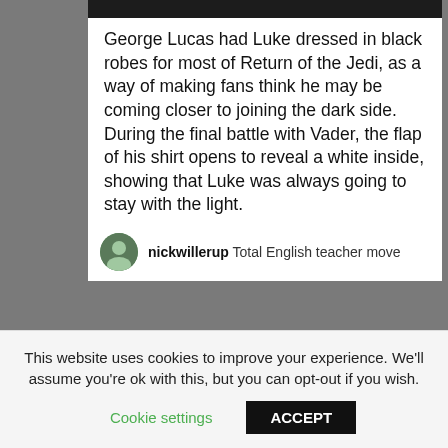[Figure (screenshot): Top photo strip showing partial dark image (person in dark clothing)]
George Lucas had Luke dressed in black robes for most of Return of the Jedi, as a way of making fans think he may be coming closer to joining the dark side. During the final battle with Vader, the flap of his shirt opens to reveal a white inside, showing that Luke was always going to stay with the light.
nickwillerup Total English teacher move
AND THEY USE YOUR SCHOOL NICKNAME
This website uses cookies to improve your experience. We'll assume you're ok with this, but you can opt-out if you wish.
Cookie settings
ACCEPT